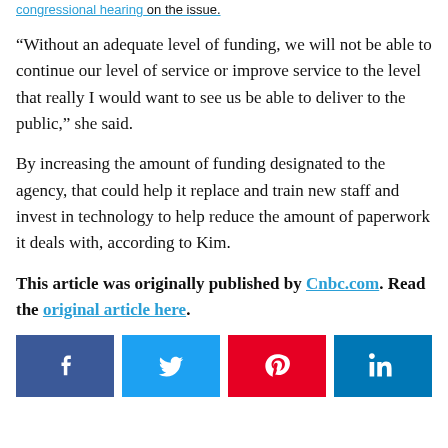congressional hearing on the issue.
“Without an adequate level of funding, we will not be able to continue our level of service or improve service to the level that really I would want to see us be able to deliver to the public,” she said.
By increasing the amount of funding designated to the agency, that could help it replace and train new staff and invest in technology to help reduce the amount of paperwork it deals with, according to Kim.
This article was originally published by Cnbc.com. Read the original article here.
[Figure (infographic): Four social media share buttons: Facebook (dark blue), Twitter (light blue), Pinterest (red), LinkedIn (blue)]